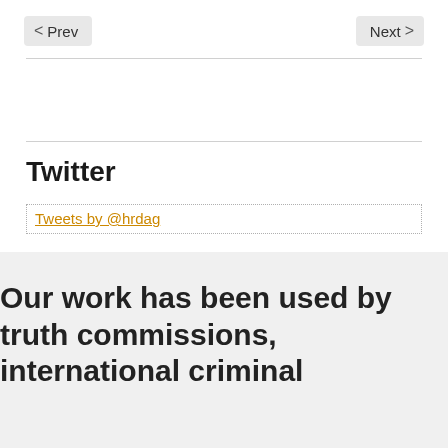Prev  Next
Twitter
Tweets by @hrdag
Our work has been used by truth commissions, international criminal